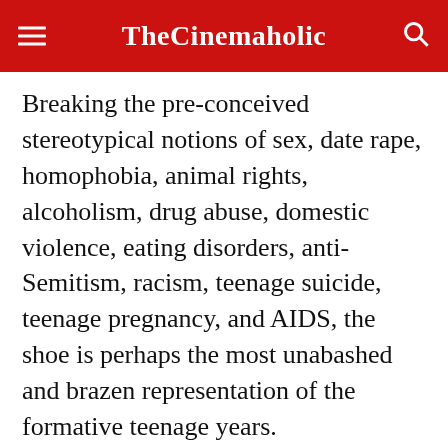TheCinemaholic
Breaking the pre-conceived stereotypical notions of sex, date rape, homophobia, animal rights, alcoholism, drug abuse, domestic violence, eating disorders, anti-Semitism, racism, teenage suicide, teenage pregnancy, and AIDS, the shoe is perhaps the most unabashed and brazen representation of the formative teenage years.
ADVERTISEMENT